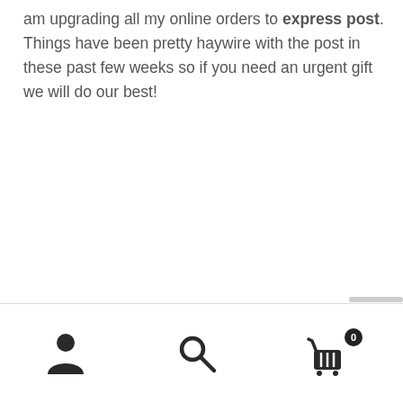am upgrading all my online orders to express post. Things have been pretty haywire with the post in these past few weeks so if you need an urgent gift we will do our best!
[Figure (screenshot): Mobile app bottom navigation bar with three icons: a user/account icon on the left, a search (magnifying glass) icon in the center, and a shopping cart icon with a badge showing '0' on the right. A horizontal scrollbar hint appears above the nav bar.]